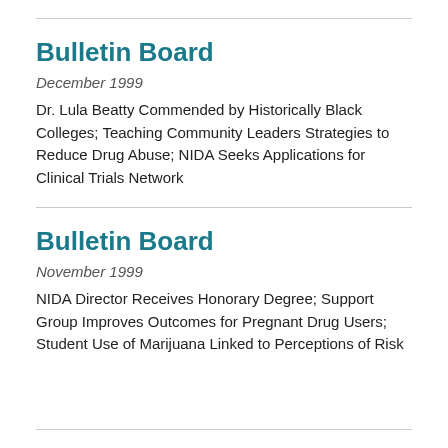Bulletin Board
December 1999
Dr. Lula Beatty Commended by Historically Black Colleges; Teaching Community Leaders Strategies to Reduce Drug Abuse; NIDA Seeks Applications for Clinical Trials Network
Bulletin Board
November 1999
NIDA Director Receives Honorary Degree; Support Group Improves Outcomes for Pregnant Drug Users; Student Use of Marijuana Linked to Perceptions of Risk